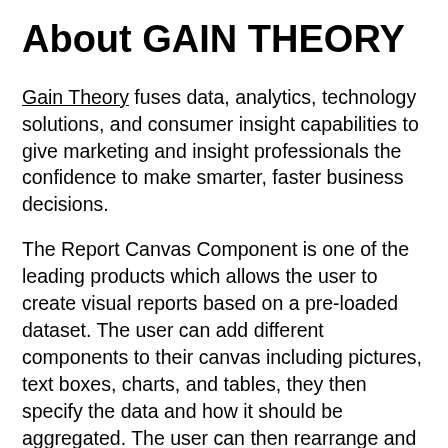About GAIN THEORY
Gain Theory fuses data, analytics, technology solutions, and consumer insight capabilities to give marketing and insight professionals the confidence to make smarter, faster business decisions.
The Report Canvas Component is one of the leading products which allows the user to create visual reports based on a pre-loaded dataset. The user can add different components to their canvas including pictures, text boxes, charts, and tables, they then specify the data and how it should be aggregated. The user can then rearrange and resize the objects to fit their canvas. The user can save if...